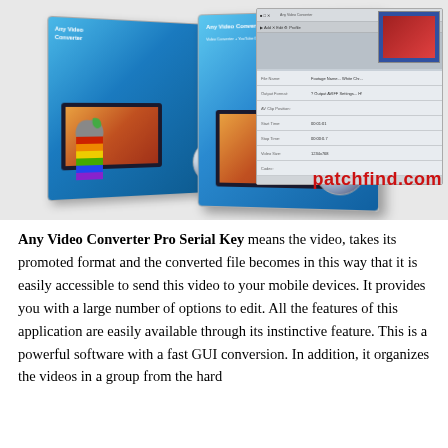[Figure (screenshot): Product image showing two Any Video Converter Ultimate software boxes with Apple logo, alongside a screenshot of the application interface. A watermark 'patchfind.com' appears in red.]
Any Video Converter Pro Serial Key means the video, takes its promoted format and the converted file becomes in this way that it is easily accessible to send this video to your mobile devices. It provides you with a large number of options to edit. All the features of this application are easily available through its instinctive feature. This is a powerful software with a fast GUI conversion. In addition, it organizes the videos in a group from the hard